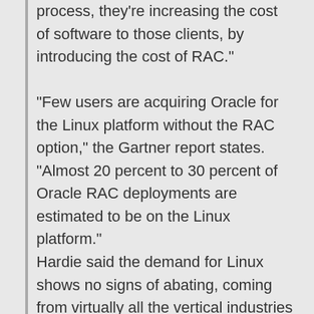process, they're increasing the cost of software to those clients, by introducing the cost of RAC."

"Few users are acquiring Oracle for the Linux platform without the RAC option," the Gartner report states. "Almost 20 percent to 30 percent of Oracle RAC deployments are estimated to be on the Linux platform."
Hardie said the demand for Linux shows no signs of abating, coming from virtually all the vertical industries and including implementations of data warehousing on clustered RAC-that clearly not being a solution for the needs of a niche, he said.